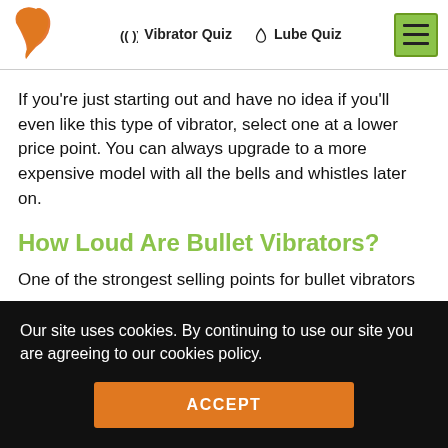Vibrator Quiz | Lube Quiz
If you're just starting out and have no idea if you'll even like this type of vibrator, select one at a lower price point. You can always upgrade to a more expensive model with all the bells and whistles later on.
How Loud Are Bullet Vibrators?
One of the strongest selling points for bullet vibrators
Our site uses cookies. By continuing to use our site you are agreeing to our cookies policy.
ACCEPT